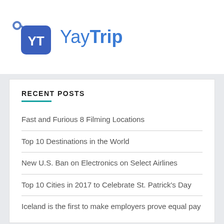[Figure (logo): YayTrip logo with luggage tag icon showing 'YT' in blue square and 'YayTrip' text in blue]
RECENT POSTS
Fast and Furious 8 Filming Locations
Top 10 Destinations in the World
New U.S. Ban on Electronics on Select Airlines
Top 10 Cities in 2017 to Celebrate St. Patrick's Day
Iceland is the first to make employers prove equal pay